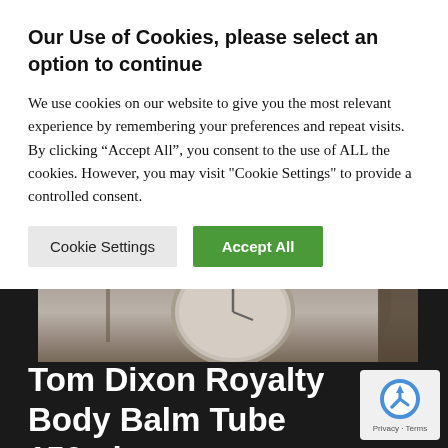Our Use of Cookies, please select an option to continue
We use cookies on our website to give you the most relevant experience by remembering your preferences and repeat visits. By clicking “Accept All”, you consent to the use of ALL the cookies. However, you may visit "Cookie Settings" to provide a controlled consent.
Cookie Settings | Accept All
[Figure (photo): Partial photo showing a clock on a wall in a room, partially obscured by cookie consent overlay]
Tom Dixon Royalty Body Balm Tube 150ml